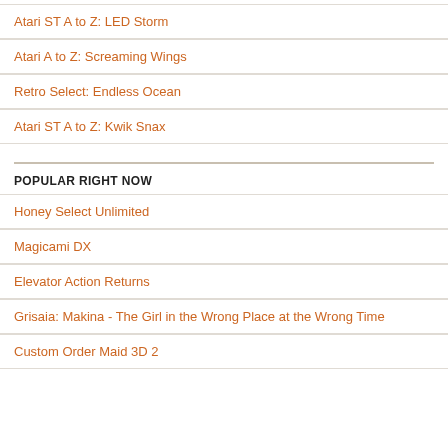Atari ST A to Z: LED Storm
Atari A to Z: Screaming Wings
Retro Select: Endless Ocean
Atari ST A to Z: Kwik Snax
POPULAR RIGHT NOW
Honey Select Unlimited
Magicami DX
Elevator Action Returns
Grisaia: Makina - The Girl in the Wrong Place at the Wrong Time
Custom Order Maid 3D 2